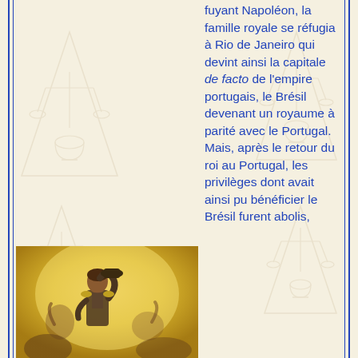fuyant Napoléon, la famille royale se réfugia à Rio de Janeiro qui devint ainsi la capitale de facto de l'empire portugais, le Brésil devenant un royaume à parité avec le Portugal. Mais, après le retour du roi au Portugal, les privilèges dont avait ainsi pu bénéficier le Brésil furent abolis,
[Figure (illustration): Historical painting of a man in military uniform raising his arm, with a yellow/golden background suggesting a patriotic or independence scene.]